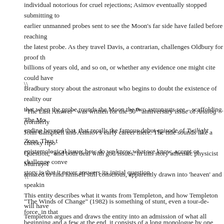individual notorious for cruel rejections; Asimov eventually stopped submitting to earlier unmanned probes sent to see the Moon's far side have failed before reaching the latest probe. As they travel Davis, a contrarian, challenges Oldbury for proof that billions of years old, and so on, or whether any evidence one might cite could have a Bradbury story about the astronaut who begins to doubt the existence of reality out that when the probe rounds the Moon the two astronauts see – scaffolding. The Mo ending beyond that, that recalls the famous debut episode of Twilight Zone. Thus the epistemological issue: how do we know what we know, accept or challenge conventional story is that it never answers its initial question.
\
“The Last Answer” was written for the 50th anniversary issue of Analog (formerly John Campbell and Asimov’s early career there. The title sounds like a cheeky rip Question,” and both deal with god issues. In this story atheistic physicist Murray T amazed to find himself still conscious, apparently drawn into ‘heaven’ and speaking This entity describes what it wants from Templeton, and how Templeton will have Templeton argues and draws the entity into an admission of what all eternal entities dialogues, it’s persuasive from point to point, but at the end you might suspect you
\
“The Winds of Change” (1982) is something of stunt, even a tour-de-force, in that beginning and a few at the end, it consists of a long monologue by one Jonas Dins